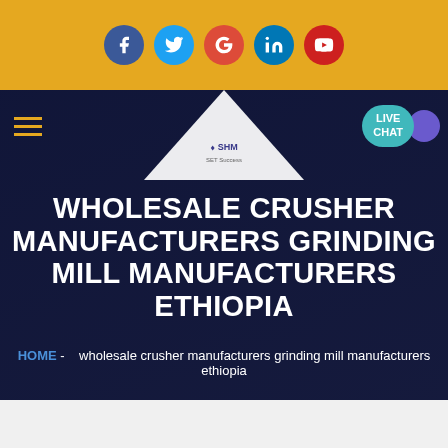Social media icons: Facebook, Twitter, Google+, LinkedIn, YouTube
[Figure (screenshot): SHM company logo in white triangle over dark hero banner with navigation hamburger menu and LIVE CHAT button]
WHOLESALE CRUSHER MANUFACTURERS GRINDING MILL MANUFACTURERS ETHIOPIA
HOME - wholesale crusher manufacturers grinding mill manufacturers ethiopia
Get a Quote
WhatsApp